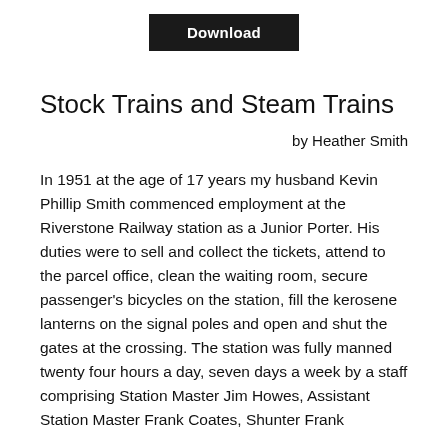[Figure (other): Download button — black rectangle with white bold text 'Download']
Stock Trains and Steam Trains
by Heather Smith
In 1951 at the age of 17 years my husband Kevin Phillip Smith commenced employment at the Riverstone Railway station as a Junior Porter. His duties were to sell and collect the tickets, attend to the parcel office, clean the waiting room, secure passenger's bicycles on the station, fill the kerosene lanterns on the signal poles and open and shut the gates at the crossing. The station was fully manned twenty four hours a day, seven days a week by a staff comprising Station Master Jim Howes, Assistant Station Master Frank Coates, Shunter Frank